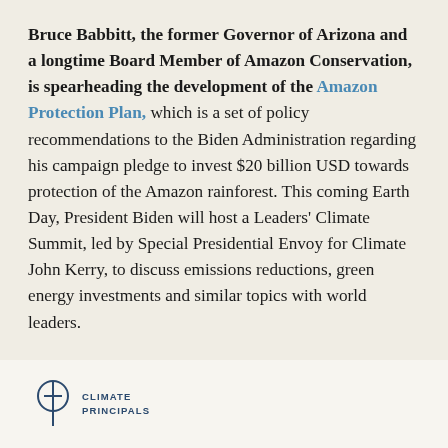Bruce Babbitt, the former Governor of Arizona and a longtime Board Member of Amazon Conservation, is spearheading the development of the Amazon Protection Plan, which is a set of policy recommendations to the Biden Administration regarding his campaign pledge to invest $20 billion USD towards protection of the Amazon rainforest. This coming Earth Day, President Biden will host a Leaders' Climate Summit, led by Special Presidential Envoy for Climate John Kerry, to discuss emissions reductions, green energy investments and similar topics with world leaders.
[Figure (logo): Climate Principals logo: a circle with a vertical line and horizontal crossbar (phi-like symbol) in dark blue, followed by the text CLIMATE PRINCIPALS in uppercase dark blue sans-serif letters]